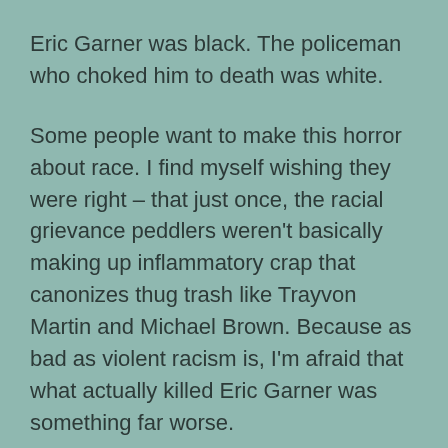Eric Garner was black. The policeman who choked him to death was white.
Some people want to make this horror about race. I find myself wishing they were right – that just once, the racial grievance peddlers weren't basically making up inflammatory crap that canonizes thug trash like Trayvon Martin and Michael Brown. Because as bad as violent racism is, I'm afraid that what actually killed Eric Garner was something far worse.
The truly terrifying thing about Eric Garner's